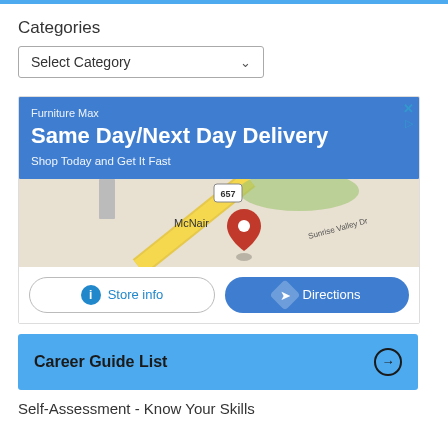Categories
Select Category
[Figure (infographic): Advertisement for Furniture Max showing 'Same Day/Next Day Delivery', 'Shop Today and Get It Fast', a Google Maps snippet showing McNair area with route 657 and a location pin, and two buttons: 'Store info' and 'Directions']
Career Guide List
Self-Assessment - Know Your Skills